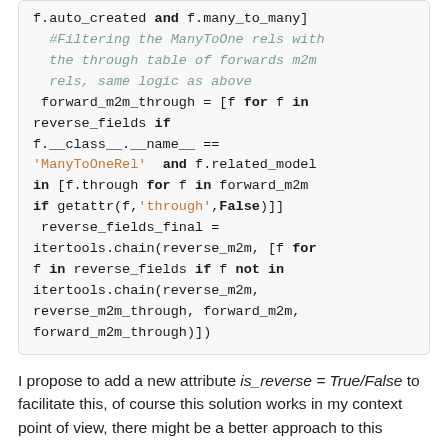[Figure (other): Code block showing Python code snippet with syntax highlighting (keywords in bold, strings in orange, comments in teal italic)]
I propose to add a new attribute is_reverse = True/False to facilitate this, of course this solution works in my context point of view, there might be a better approach to this